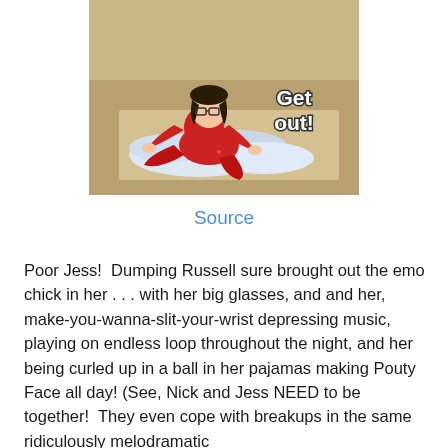[Figure (photo): A woman in red floral pajamas sitting on the floor surrounded by crumpled laundry/clothes, wearing glasses, with overlaid bold white text reading 'Get out!']
Source
Poor Jess!  Dumping Russell sure brought out the emo chick in her . . . with her big glasses, and and her, make-you-wanna-slit-your-wrist depressing music, playing on endless loop throughout the night, and her being curled up in a ball in her pajamas making Pouty Face all day! (See, Nick and Jess NEED to be together!  They even cope with breakups in the same ridiculously melodramatic way!